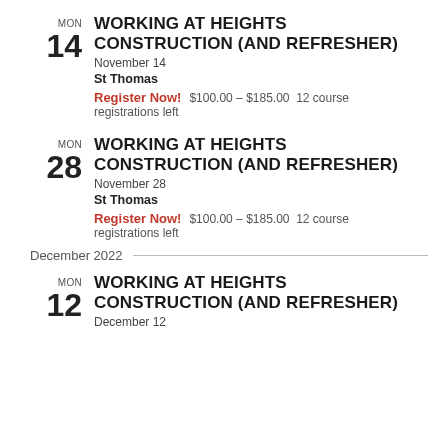MON 14 WORKING AT HEIGHTS CONSTRUCTION (AND REFRESHER) November 14 St Thomas Register Now! $100.00 – $185.00 12 course registrations left
MON 28 WORKING AT HEIGHTS CONSTRUCTION (AND REFRESHER) November 28 St Thomas Register Now! $100.00 – $185.00 12 course registrations left
December 2022
MON 12 WORKING AT HEIGHTS CONSTRUCTION (AND REFRESHER) December 12